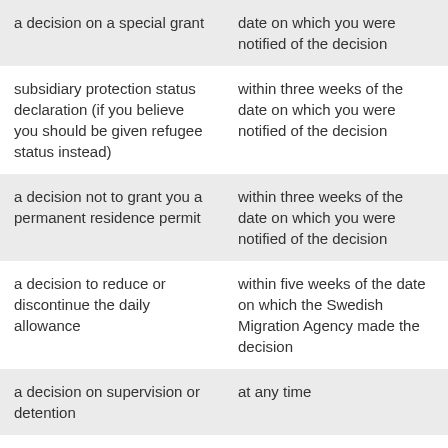| Decision type | Time limit |
| --- | --- |
| a decision on a special grant | date on which you were notified of the decision |
| subsidiary protection status declaration (if you believe you should be given refugee status instead) | within three weeks of the date on which you were notified of the decision |
| a decision not to grant you a permanent residence permit | within three weeks of the date on which you were notified of the decision |
| a decision to reduce or discontinue the daily allowance | within five weeks of the date on which the Swedish Migration Agency made the decision |
| a decision on supervision or detention | at any time |